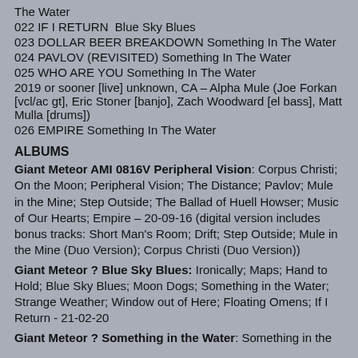The Water
022 IF I RETURN  Blue Sky Blues
023 DOLLAR BEER BREAKDOWN Something In The Water
024 PAVLOV (REVISITED) Something In The Water
025 WHO ARE YOU Something In The Water
2019 or sooner [live] unknown, CA – Alpha Mule (Joe Forkan [vcl/ac gt], Eric Stoner [banjo], Zach Woodward [el bass], Matt Mulla [drums])
026 EMPIRE Something In The Water
ALBUMS
Giant Meteor AMI 0816V Peripheral Vision: Corpus Christi; On the Moon; Peripheral Vision; The Distance; Pavlov; Mule in the Mine; Step Outside; The Ballad of Huell Howser; Music of Our Hearts; Empire – 20-09-16 (digital version includes bonus tracks: Short Man's Room; Drift; Step Outside; Mule in the Mine (Duo Version); Corpus Christi (Duo Version))
Giant Meteor ? Blue Sky Blues: Ironically; Maps; Hand to Hold; Blue Sky Blues; Moon Dogs; Something in the Water; Strange Weather; Window out of Here; Floating Omens; If I Return - 21-02-20
Giant Meteor ? Something in the Water: Something in the